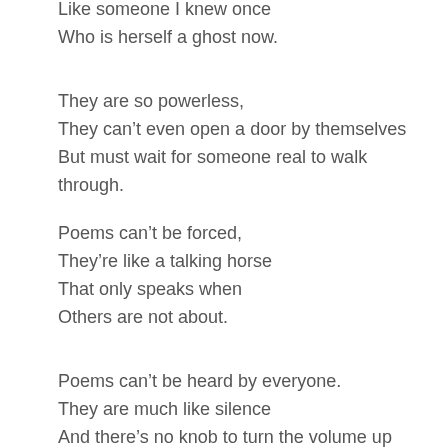Like someone I knew once
Who is herself a ghost now.
They are so powerless,
They can’t even open a door by themselves
But must wait for someone real to walk through.
Poems can’t be forced,
They’re like a talking horse
That only speaks when
Others are not about.
Poems can’t be heard by everyone.
They are much like silence
And there’s no knob to turn the volume up